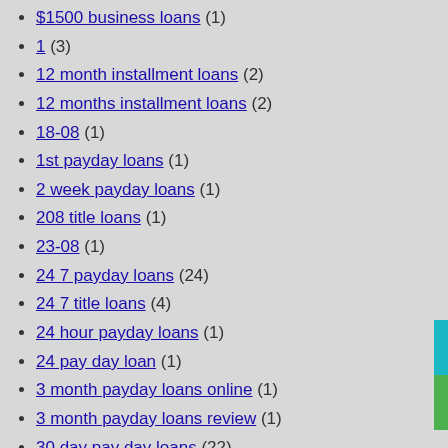$1500 business loans (1)
1 (3)
12 month installment loans (2)
12 months installment loans (2)
18-08 (1)
1st payday loans (1)
2 week payday loans (1)
208 title loans (1)
23-08 (1)
24 7 payday loans (24)
24 7 title loans (4)
24 hour payday loans (1)
24 pay day loan (1)
3 month payday loans online (1)
3 month payday loans review (1)
30 day pay day loans (22)
30 day payday loans (2)
30da-tarihleme Siteler (1)
321chat Accedere (1)
321Chat adult dating (2)
321chat app (2)
321chat connexion (3)
321chat dating (1)
321chat funzione (1)